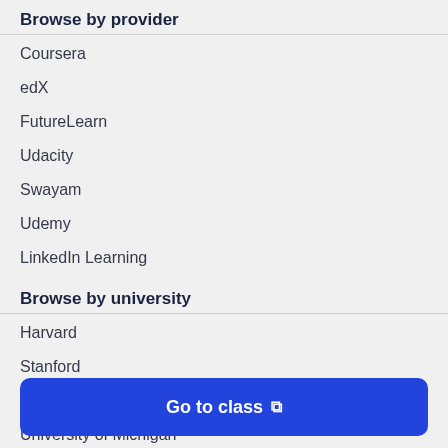Browse by provider
Coursera
edX
FutureLearn
Udacity
Swayam
Udemy
LinkedIn Learning
Browse by university
Harvard
Stanford
Georgia Tech
University of Michigan
Go to class